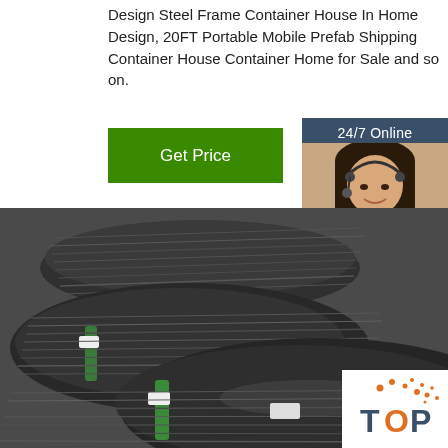Design Steel Frame Container House In Home Design, 20FT Portable Mobile Prefab Shipping Container House Container Home for Sale and so on.
[Figure (other): Green 'Get Price' button]
[Figure (other): Sidebar with '24/7 Online' header, customer service representative photo with headset, 'Click here for free chat!' text, and orange 'QUOTATION' button on dark blue background]
[Figure (photo): Large photograph of bundled steel wire coils/rods tied with green straps, showing dark metallic industrial material]
[Figure (logo): TOP logo with orange dot pattern in bottom right corner]